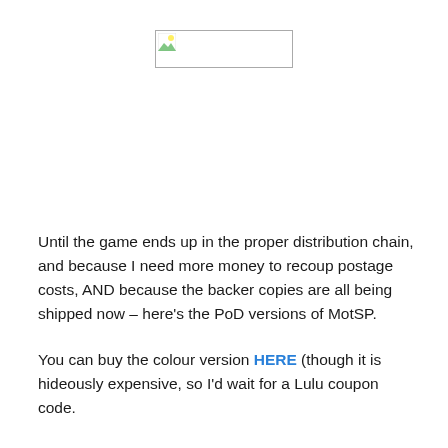[Figure (other): Broken/placeholder image icon in a rectangular box, positioned at top center of page]
Until the game ends up in the proper distribution chain, and because I need more money to recoup postage costs, AND because the backer copies are all being shipped now – here's the PoD versions of MotSP.
You can buy the colour version HERE (though it is hideously expensive, so I'd wait for a Lulu coupon code.